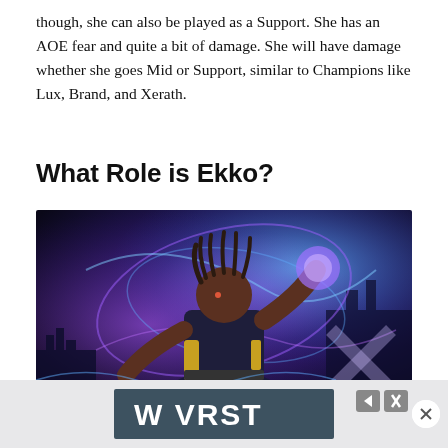though, she can also be played as a Support. She has an AOE fear and quite a bit of damage. She will have damage whether she goes Mid or Support, similar to Champions like Lux, Brand, and Xerath.
What Role is Ekko?
[Figure (illustration): Ekko character art from League of Legends — a young male figure in dark armored jacket with yellow accents, dreadlocks, reaching forward with glowing purple and blue energy swirling around him, futuristic city backdrop.]
[Figure (other): Advertisement bar with 'W VRST' logo text in white on dark grey/teal background, with navigation arrow and close (X) button controls.]